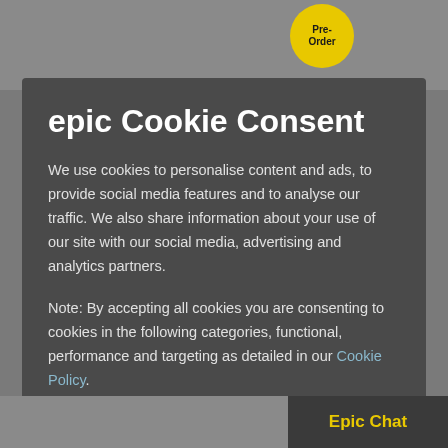[Figure (screenshot): Background showing phone product images with a Pre-Order badge in yellow circle]
epic Cookie Consent
We use cookies to personalise content and ads, to provide social media features and to analyse our traffic. We also share information about your use of our site with our social media, advertising and analytics partners.
Note: By accepting all cookies you are consenting to cookies in the following categories, functional, performance and targeting as detailed in our Cookie Policy.
Accept All Cookies
Manage Your Cookie Settings >
Epic Chat